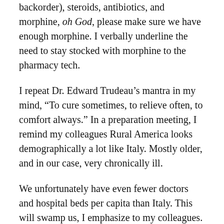backorder), steroids, antibiotics, and morphine, oh God, please make sure we have enough morphine. I verbally underline the need to stay stocked with morphine to the pharmacy tech.
I repeat Dr. Edward Trudeau’s mantra in my mind, “To cure sometimes, to relieve often, to comfort always.” In a preparation meeting, I remind my colleagues Rural America looks demographically a lot like Italy. Mostly older, and in our case, very chronically ill.
We unfortunately have even fewer doctors and hospital beds per capita than Italy. This will swamp us, I emphasize to my colleagues. And our typically release valve, “transfer to higher level of care,” is going to stop working pretty soon, because it will hit transfer centers before it hits us.